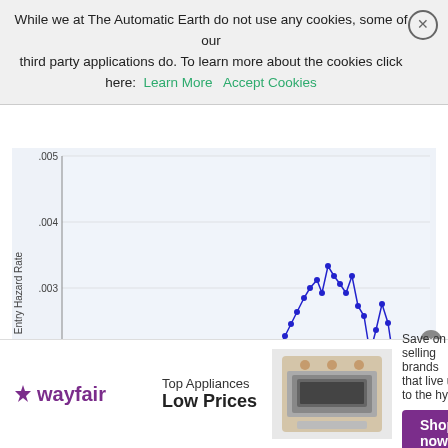While we at The Automatic Earth do not use any cookies, some of our third party applications do. To learn more about the cookies click here: Learn More  Accept Cookies
[Figure (continuous-plot): Line chart showing Entry Hazard Rate over time (approximately 1995 to 2009). The y-axis shows Entry Hazard Rate from .001 to .005. The line starts around .0015 in the mid-1990s, oscillates around .002 through 2000, rises with peaks reaching ~.0045 around 2005-2006, then becomes volatile dropping to ~.001 before recovering.]
[Figure (photo): Wayfair advertisement showing top appliances at low prices with an image of a range/oven appliance and a Shop now button]